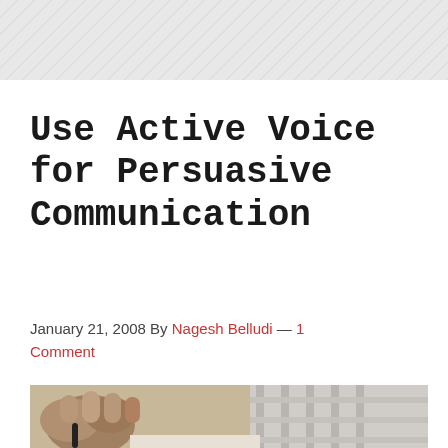[Figure (photo): Diagonal hatching / crosshatch pattern background at top of page]
Use Active Voice for Persuasive Communication
January 21, 2008 By Nagesh Belludi — 1 Comment
[Figure (photo): Close-up photo of a hand/fist writing or holding a pen on paper]